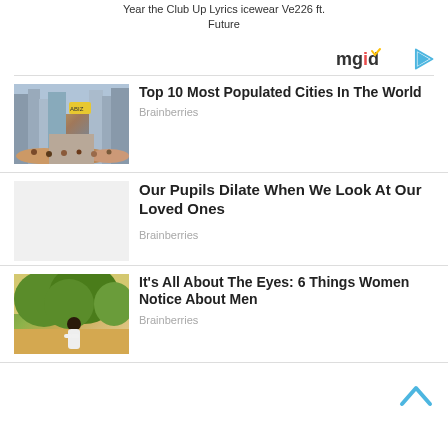Year the Club Up Lyrics icewear Ve226 ft. Future
[Figure (logo): mgid logo with play button icon]
[Figure (photo): Crowded street in a densely populated city]
Top 10 Most Populated Cities In The World
Brainberries
Our Pupils Dilate When We Look At Our Loved Ones
Brainberries
[Figure (photo): Woman with long dark hair looking at trees in nature]
It's All About The Eyes: 6 Things Women Notice About Men
Brainberries